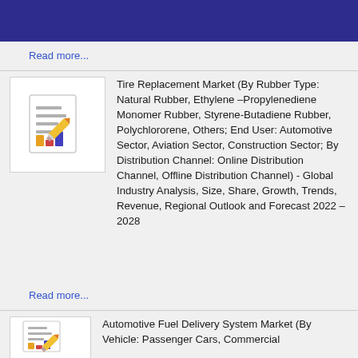Read more...
[Figure (illustration): Report icon with bar chart and pencil graphic]
Tire Replacement Market (By Rubber Type: Natural Rubber, Ethylene –Propylenediene Monomer Rubber, Styrene-Butadiene Rubber, Polychlororene, Others; End User: Automotive Sector, Aviation Sector, Construction Sector; By Distribution Channel: Online Distribution Channel, Offline Distribution Channel) - Global Industry Analysis, Size, Share, Growth, Trends, Revenue, Regional Outlook and Forecast 2022 – 2028
Read more...
[Figure (illustration): Report icon with bar chart and pencil graphic]
Automotive Fuel Delivery System Market (By Vehicle: Passenger Cars, Commercial